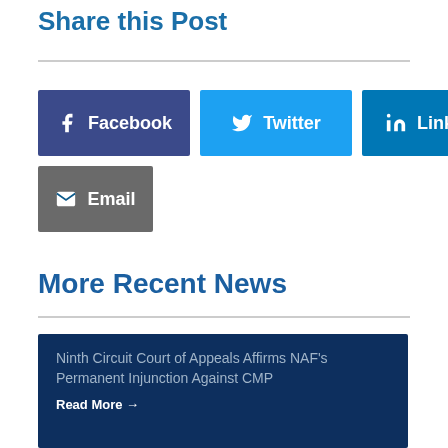Share this Post
[Figure (other): Social share buttons: Facebook, Twitter, Linkedin, Email]
More Recent News
Ninth Circuit Court of Appeals Affirms NAF's Permanent Injunction Against CMP
Read More →